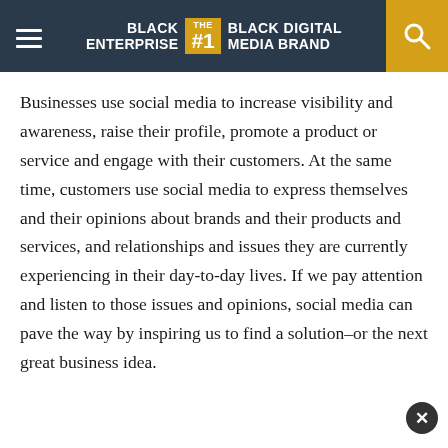BLACK ENTERPRISE THE #1 BLACK DIGITAL MEDIA BRAND
Businesses use social media to increase visibility and awareness, raise their profile, promote a product or service and engage with their customers. At the same time, customers use social media to express themselves and their opinions about brands and their products and services, and relationships and issues they are currently experiencing in their day-to-day lives. If we pay attention and listen to those issues and opinions, social media can pave the way by inspiring us to find a solution–or the next great business idea.